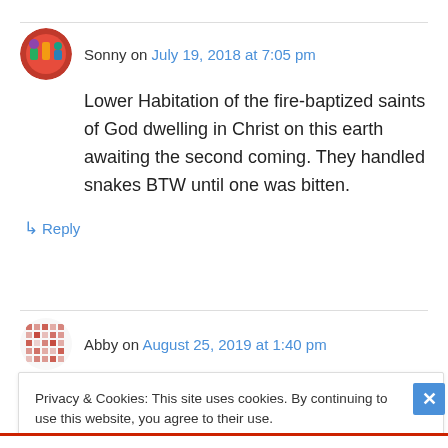Sonny on July 19, 2018 at 7:05 pm
Lower Habitation of the fire-baptized saints of God dwelling in Christ on this earth awaiting the second coming. They handled snakes BTW until one was bitten.
↳ Reply
Abby on August 25, 2019 at 1:40 pm
Privacy & Cookies: This site uses cookies. By continuing to use this website, you agree to their use.
To find out more, including how to control cookies, see here: Cookie Policy
Close and accept